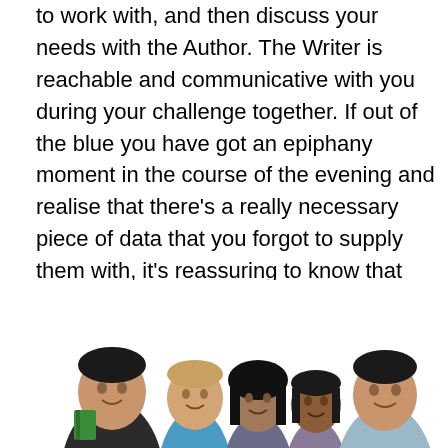to work with, and then discuss your needs with the Author. The Writer is reachable and communicative with you during your challenge together. If out of the blue you have got an epiphany moment in the course of the evening and realise that there's a really necessary piece of data that you forgot to supply them with, it's reassuring to know that they are only some clicks away and can be reached at any time.
[Figure (photo): Group of five smiling young students (two males visible prominently, one male on right, and two females in the middle), one holding a green book/folder, photographed from waist up against a white background.]